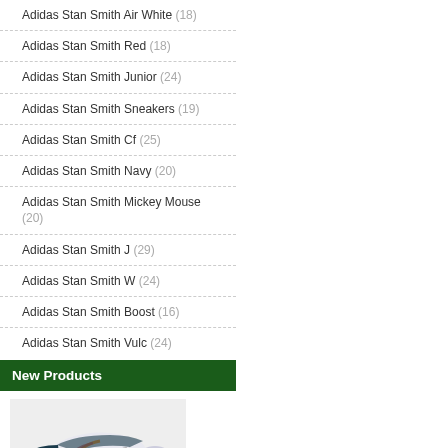Adidas Stan Smith Air White (18)
Adidas Stan Smith Red (18)
Adidas Stan Smith Junior (24)
Adidas Stan Smith Sneakers (19)
Adidas Stan Smith Cf (25)
Adidas Stan Smith Navy (20)
Adidas Stan Smith Mickey Mouse (20)
Adidas Stan Smith J (29)
Adidas Stan Smith W (24)
Adidas Stan Smith Boost (16)
Adidas Stan Smith Vulc (24)
New Products
[Figure (photo): Adidas Yeezy Boost 700 Wave Runner sneaker shown from the side on a light background]